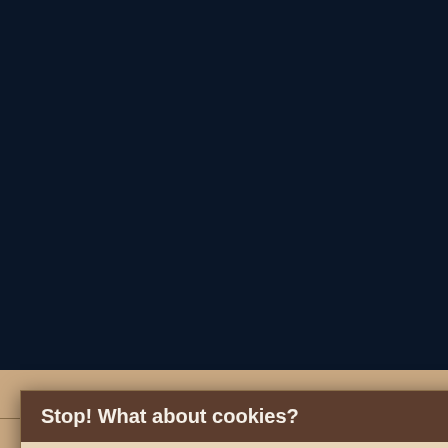[Figure (screenshot): Dark navy blue background of a website behind a cookie consent modal dialog]
Stop! What about cookies?
Our website makes use of cookies (sadly not the delicious, crumbly ones) and similar technologies. If you accept them, we share information with our partners for social media, advertising and analysis.

Please let us know which cookies we can use.
Manage Cookies
Accept All